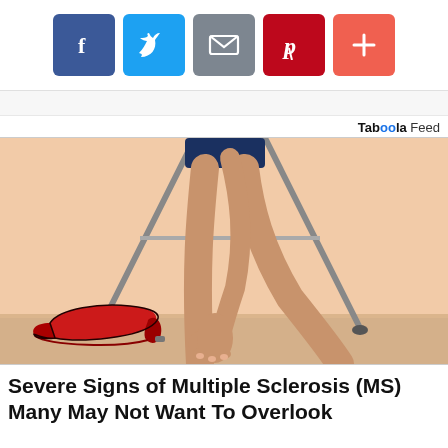[Figure (screenshot): Social share buttons: Facebook (blue), Twitter (light blue), Email (gray), Pinterest (dark red), Plus (orange-red)]
Tab⁰⁰la Feed
[Figure (illustration): Illustration of a person bending down near a chair, holding their ankle near a red high-heeled shoe on the floor. The image suggests ankle/leg pain related to MS symptoms.]
Severe Signs of Multiple Sclerosis (MS) Many May Not Want To Overlook